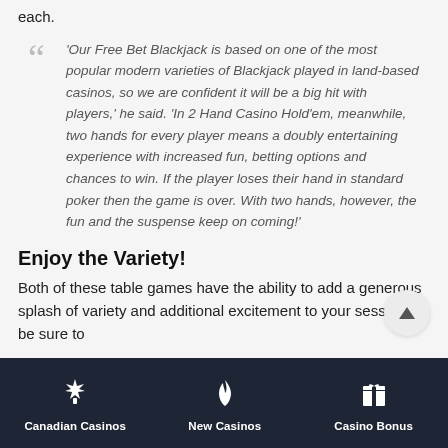each.
‘Our Free Bet Blackjack is based on one of the most popular modern varieties of Blackjack played in land-based casinos, so we are confident it will be a big hit with players,’ he said. ‘In 2 Hand Casino Hold’em, meanwhile, two hands for every player means a doubly entertaining experience with increased fun, betting options and chances to win. If the player loses their hand in standard poker then the game is over. With two hands, however, the fun and the suspense keep on coming!’
Enjoy the Variety!
Both of these table games have the ability to add a generous splash of variety and additional excitement to your session, so be sure to
Canadian Casinos | New Casinos | Casino Bonus